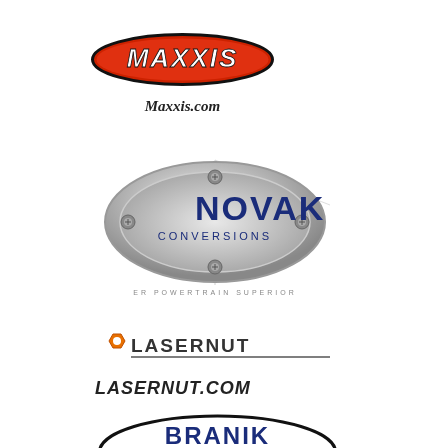[Figure (logo): Maxxis logo: orange/red oval with white bold italic MAXXIS text and black border]
Maxxis.com
[Figure (logo): Novak Conversions logo: silver oval metallic badge with blue NOVAK text, CONVERSIONS below, screws/bolts around the oval, tagline ER POWERTRAIN SUPERIOR]
[Figure (logo): Lasernut logo: stylized text LASERNUT with a nut/bolt icon and yellow accent, underlined]
LASERNUT.COM
[Figure (logo): Branik Motorsports Racing Axles logo: oval black border with BRANIK in blue bold, Motorsports in script, RACING AXLES text below]